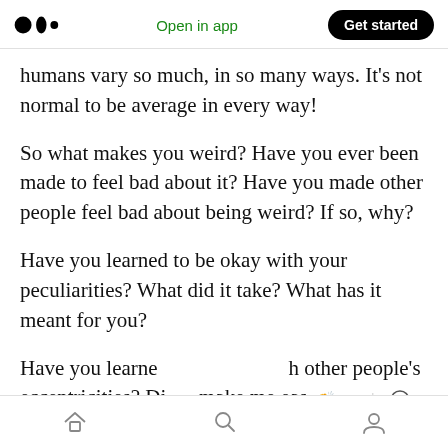Medium logo | Open in app | Get started
humans vary so much, in so many ways. It's not normal to be average in every way!
So what makes you weird? Have you ever been made to feel bad about it? Have you made other people feel bad about being weird? If so, why?
Have you learned to be okay with your peculiarities? What did it take? What has it meant for you?
Have you learned [to appreciate] other people's eccentricities? Did it make life easier and richer
Home | Search | Profile